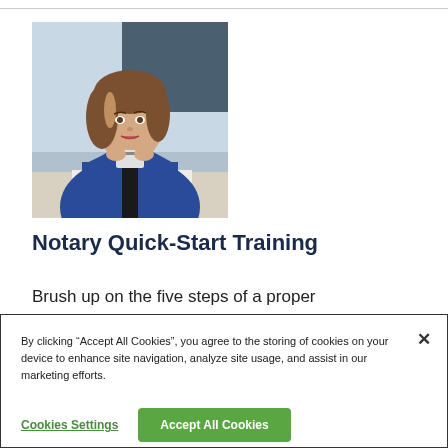[Figure (photo): A woman in a blue blazer sitting at a desk, holding what appears to be an ID card or small document, with a blue notary stamp visible on the desk in front of her.]
Notary Quick-Start Training
Brush up on the five steps of a proper
By clicking “Accept All Cookies”, you agree to the storing of cookies on your device to enhance site navigation, analyze site usage, and assist in our marketing efforts.
Cookies Settings
Accept All Cookies